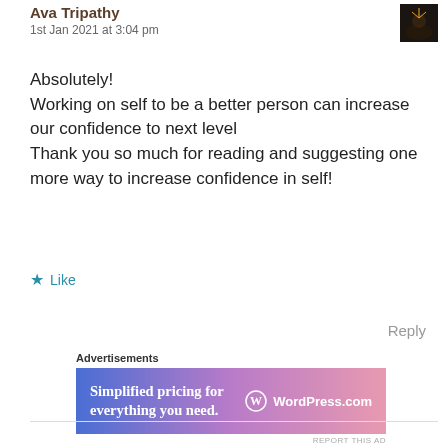Ava Tripathy
1st Jan 2021 at 3:04 pm
Absolutely!
Working on self to be a better person can increase our confidence to next level
Thank you so much for reading and suggesting one more way to increase confidence in self!
★ Like
Reply
Advertisements
[Figure (infographic): WordPress.com advertisement banner with blue-to-pink gradient. Text: 'Simplified pricing for everything you need.' with WordPress.com logo on the right.]
REPORT THIS AD